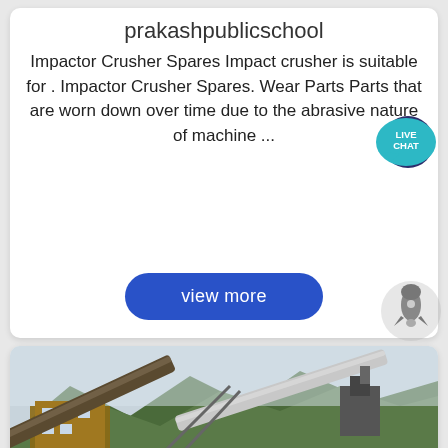prakashpublicschool
Impactor Crusher Spares Impact crusher is suitable for . Impactor Crusher Spares. Wear Parts Parts that are worn down over time due to the abrasive nature of machine ...
[Figure (illustration): Blue 'LIVE CHAT' speech bubble icon with dark blue circular background]
[Figure (illustration): Gray rocket ship icon]
view more
[Figure (photo): Industrial crushing plant with conveyor belts, heavy machinery, and mountains in the background under an overcast sky]